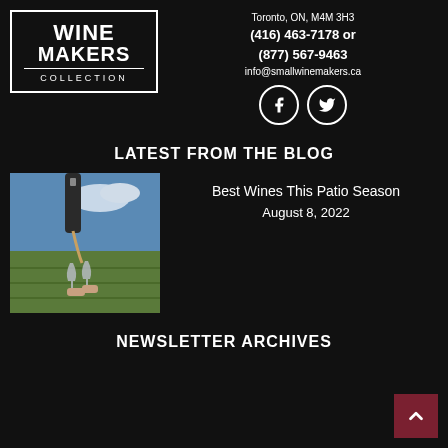[Figure (logo): Wine Makers Collection logo in white on dark background with border]
Toronto, ON, M4M 3H3
(416) 463-7178 or
(877) 567-9463
info@smallwinemakers.ca
[Figure (other): Facebook and Twitter social media icons in white circles]
LATEST FROM THE BLOG
[Figure (photo): Photo of wine being poured into glasses held up outdoors with vineyard/landscape in background]
Best Wines This Patio Season
August 8, 2022
NEWSLETTER ARCHIVES